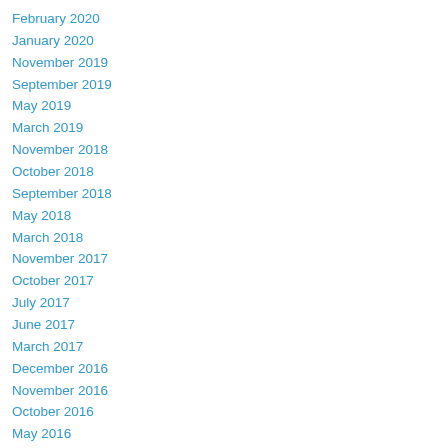February 2020
January 2020
November 2019
September 2019
May 2019
March 2019
November 2018
October 2018
September 2018
May 2018
March 2018
November 2017
October 2017
July 2017
June 2017
March 2017
December 2016
November 2016
October 2016
May 2016